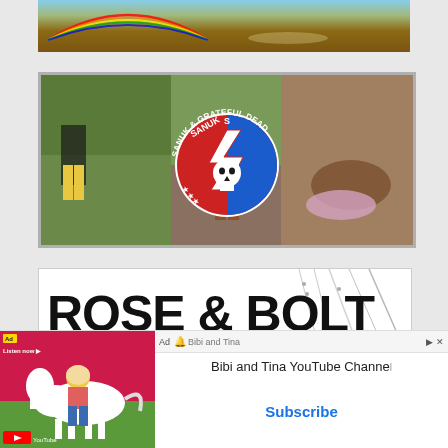[Figure (photo): Top portion of an outdoor/nature photo showing a rainbow arc over a brownish-water landscape]
[Figure (photo): Sanuk & Grateful Dead collaborative advertisement showing people outdoors on rocks with tie-dye border, featuring the Grateful Dead lightning bolt skull logo with text 'SANUK & GRATEFUL DEAD']
[Figure (photo): Rose & Bolt advertisement showing large bold text 'ROSE & BOLT' with jewelry items in background]
[Figure (other): YouTube advertisement banner for 'Bibi and Tina YouTube Channel' with Subscribe button, showing cartoon characters on a pink background, with Ad label and close button]